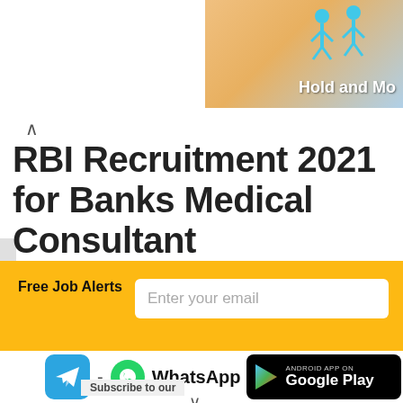[Figure (illustration): Top-right corner partial ad banner showing game figures and 'Hold and Mo...' text on a beige/blue background]
RBI Recruitment 2021 for Banks Medical Consultant
Free Job Alerts | Enter your email | Subscribe
[Figure (screenshot): Telegram icon, WhatsApp logo, Google Play badge with 'ANDROID APP ON Google Play']
Subscribe to our